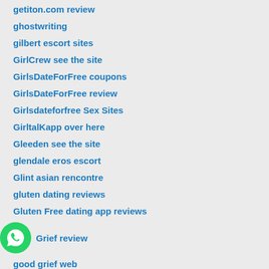getiton.com review
ghostwriting
gilbert escort sites
GirlCrew see the site
GirlsDateForFree coupons
GirlsDateForFree review
Girlsdateforfree Sex Sites
GirltalKapp over here
Gleeden see the site
glendale eros escort
Glint asian rencontre
gluten dating reviews
Gluten Free dating app reviews
Grief review
good grief web